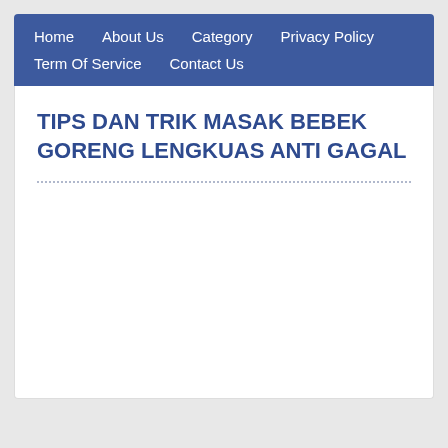Home   About Us   Category   Privacy Policy   Term Of Service   Contact Us
TIPS DAN TRIK MASAK BEBEK GORENG LENGKUAS ANTI GAGAL